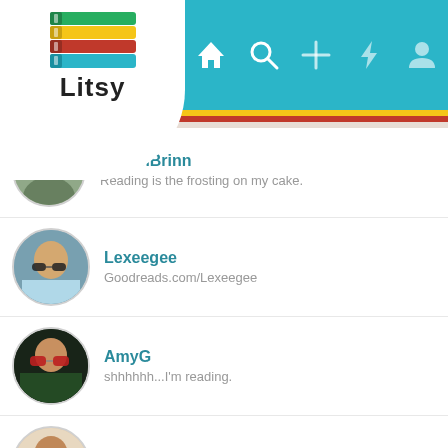[Figure (screenshot): Litsy app logo with stacked colorful books icon and 'Litsy' text on white circular/rounded background]
[Figure (screenshot): Top navigation bar with home, search, plus, flash/activity, and profile icons on teal background]
BrownBrinn (partially visible) — Reading is the frosting on my cake.
Lexeegee — Goodreads.com/Lexeegee
AmyG — shhhhhh...I'm reading.
IndoorDame — You're never too old for picture books
hannah-leeloo — To be all right implies an impossible phase, we hope for mostly right on the best of our days.